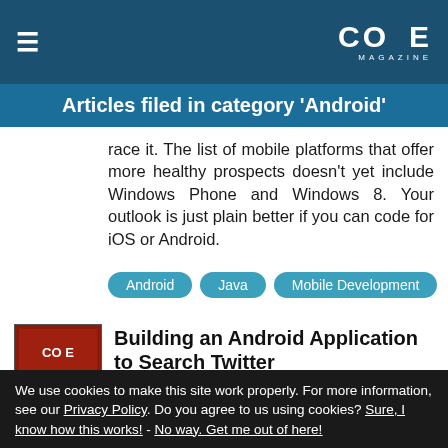CODE MAGAZINE
Articles filed in category 'Android'
race it. The list of mobile platforms that offer more healthy prospects doesn't yet include Windows Phone and Windows 8. Your outlook is just plain better if you can code for iOS or Android.
Android
Java
Mobile Development
Building an Android Application to Search Twitter
[Figure (photo): Code Magazine cover thumbnail]
We use cookies to make this site work properly. For more information, see our Privacy Policy. Do you agree to us using cookies? Sure, I know how this works! - No way. Get me out of here!